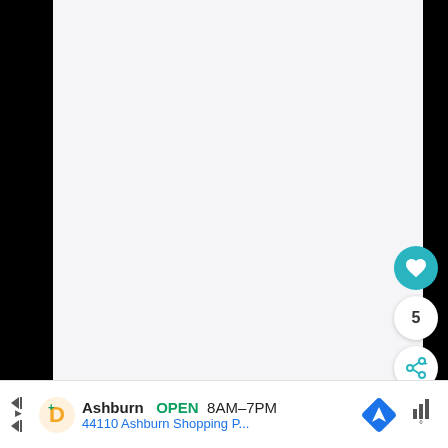[Figure (other): Large white/light gray content panel area (blank/image area) on the upper portion of the page]
[Figure (other): Teal circular heart/favorite button with white heart icon]
5
[Figure (other): White circular share button with teal share/network icon]
2. Place the branding iron onto a bed of hot coals
Ashburn  OPEN  8AM-7PM  44110 Ashburn Shopping P...